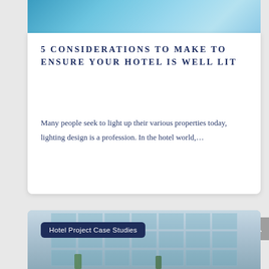[Figure (photo): Top portion of a hotel pool area with blue water and lighting, partially visible]
5 CONSIDERATIONS TO MAKE TO ENSURE YOUR HOTEL IS WELL LIT
Many people seek to light up their various properties today, lighting design is a profession. In the hotel world,...
[Figure (photo): Hotel exterior building with multiple floors, balconies, large windows, and palm trees. Overlay label reads 'Hotel Project Case Studies']
Hotel Project Case Studies